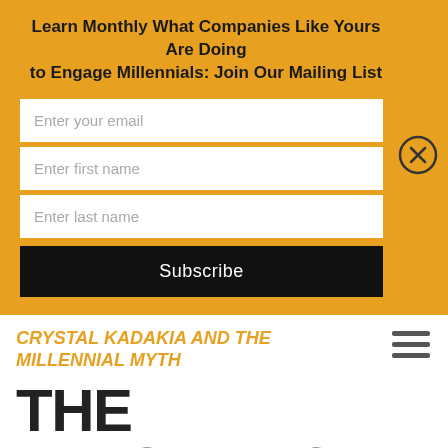Learn Monthly What Companies Like Yours Are Doing to Engage Millennials: Join Our Mailing List
Enter your email
Enter first name
Enter last name
Subscribe
CRYSTAL KADAKIA AND THE MILLENNIAL MYTH
THE INVISIBLES: CONSEQUENCES